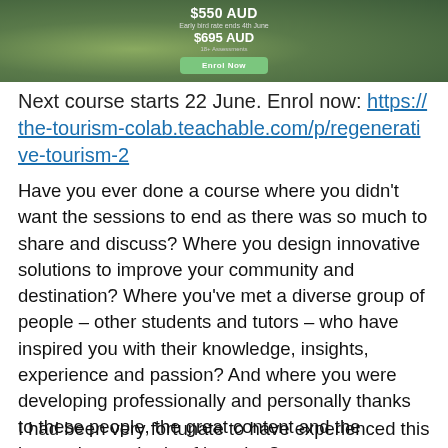[Figure (screenshot): Screenshot of a course enrollment widget showing prices $550 AUD, early bird rate ends 4th June, $695 AUD, with an Enrol Now button on a nature background.]
Next course starts 22 June. Enrol now: https://the-tourism-colab.teachable.com/p/regenerative-tourism-2
Have you ever done a course where you didn't want the sessions to end as there was so much to share and discuss? Where you design innovative solutions to improve your community and destination? Where you've met a diverse group of people – other students and tutors – who have inspired you with their knowledge, insights, experience and passion? And where you were developing professionally and personally thanks to these people, the great content and the innovative methods of learning?
I had been very fortunate to have experienced this